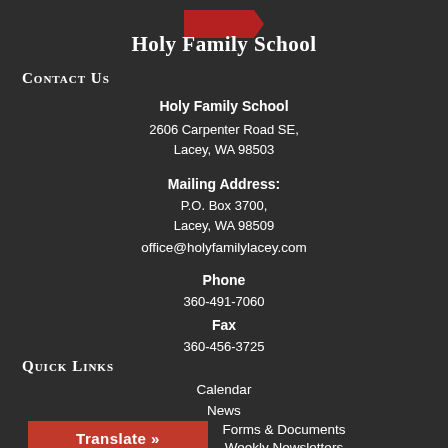[Figure (logo): Red ribbon/flag shaped logo for Holy Family School]
Holy Family School
Contact Us
Holy Family School
2606 Carpenter Road SE,
Lacey, WA 98503

Mailing Address:
P.O. Box 3700,
Lacey, WA 98509
office@holyfamilylacey.com
Phone
360-491-7060
Fax
360-456-3725
Quick Links
Calendar
News
Forms & Documents
Weekly Newsletters
Translate »